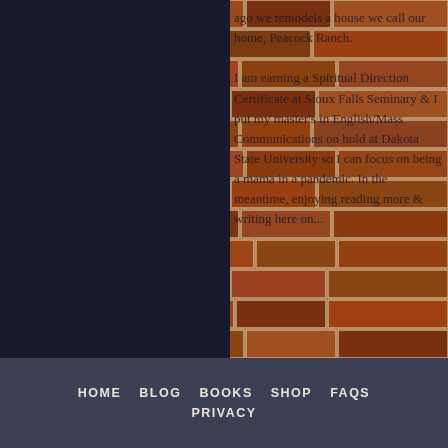[Figure (photo): A person wearing a black dress standing in front of a brick wall. Overlaid text on the brick wall reads partial sentences about Spiritual Direction Certificate, Sioux Falls Seminary, master's in English/Mass Communications on hold at Dakota State University, being a mama in a pandemic, reading more and writing. The left half of the image is taken up by the person's torso and arm with bracelets and rings.]
ago we remodels a house we call our home, Peacock Ranch. I am earning a Spiritual Direction Certificate at Sioux Falls Seminary & I put my master's in English/Mass Communications on hold at Dakota State University so I can focus on being a mama in a pandemic. In the meantime, enjoying reading more & writing here on...
HOME   BLOG   BOOKS   SHOP   FAQS   PRIVACY